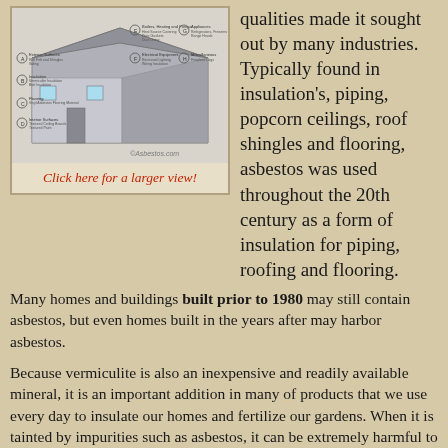[Figure (illustration): Diagram of a house cross-section showing locations where asbestos-containing materials can be found, including exterior surfaces, insulation, flooring, interior surfaces, appliances, boilers/heating/pumps, electrical equipment, miscellaneous, and automotive sections. Watermarked with Asbestos.com.]
Click here for a larger view!
qualities made it sought out by many industries. Typically found in insulation's, piping, popcorn ceilings, roof shingles and flooring, asbestos was used throughout the 20th century as a form of insulation for piping, roofing and flooring.
Many homes and buildings built prior to 1980 may still contain asbestos, but even homes built in the years after may harbor asbestos.
Because vermiculite is also an inexpensive and readily available mineral, it is an important addition in many of products that we use every day to insulate our homes and fertilize our gardens. When it is tainted by impurities such as asbestos, it can be extremely harmful to the health of your family. Although Vermiculite alone does not contain asbestos, it came from one single mine that contained a